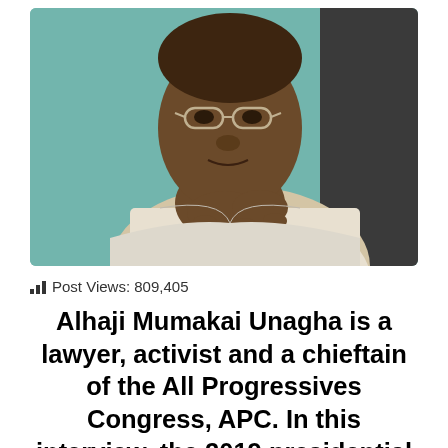[Figure (photo): A man wearing glasses and a white garment, looking at the camera with hands clasped near his chin, against a teal/green background.]
Post Views: 809,405
Alhaji Mumakai Unagha is a lawyer, activist and a chieftain of the All Progressives Congress, APC. In this interview, the 2019 presidential aspirant said among others that